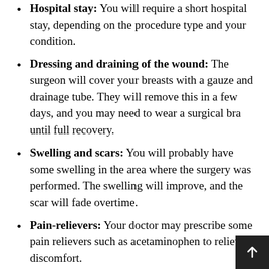Hospital stay: You will require a short hospital stay, depending on the procedure type and your condition.
Dressing and draining of the wound: The surgeon will cover your breasts with a gauze and drainage tube. They will remove this in a few days, and you may need to wear a surgical bra until full recovery.
Swelling and scars: You will probably have some swelling in the area where the surgery was performed. The swelling will improve, and the scar will fade overtime.
Pain-relievers: Your doctor may prescribe some pain relievers such as acetaminophen to relieve discomfort.
Precautions: Avoid any heavy lifting for up to 6 weeks after getting breast implantation surgery.
How to take care of breast implants after